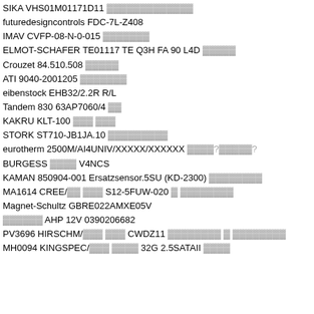SIKA VHS01M01171D11 [gray chars]
futuredesigncontrols FDC-7L-Z408
IMAV CVFP-08-N-0-015 [gray chars]
ELMOT-SCHAFER TE01117 TE Q3H FA 90 L4D [gray chars]
Crouzet 84.510.508 [gray chars]
ATI 9040-2001205 [gray chars]
eibenstock EHB32/2.2R R/L
Tandem 830 63AP7060/4 [gray chars]
KAKRU KLT-100 [gray chars]
STORK ST710-JB1JA.10 [gray chars]
eurotherm 2500M/AI4UNIV/XXXXX/XXXXXX [gray chars]?[gray chars]?
BURGESS [gray chars] V4NCS
KAMAN 850904-001 Ersatzsensor.5SU (KD-2300) [gray chars]
MA1614 CREE/[gray] [gray] S12-5FUW-020 [gray] [gray chars]
Magnet-Schultz GBRE022AMXE05V
[gray chars] AHP 12V 0390206682
PV3696 HIRSCHM/[gray] [gray] CWDZ11 [gray chars] [gray] [gray chars]
MH0094 KINGSPEC/[gray] [gray] 32G 2.5SATAII [gray chars]